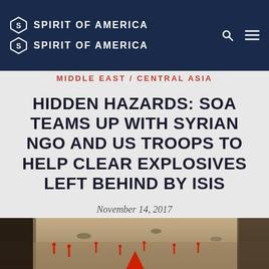SPIRIT OF AMERICA
SPIRIT OF AMERICA
MIDDLE EAST / CENTRAL ASIA
HIDDEN HAZARDS: SOA TEAMS UP WITH SYRIAN NGO AND US TROOPS TO HELP CLEAR EXPLOSIVES LEFT BEHIND BY ISIS
November 14, 2017
[Figure (photo): Ground-level photo showing a sandy/rocky terrain in Syria with small red markers indicating explosive hazards, a figure visible on the right edge, and a red triangular flag marker in the foreground center]